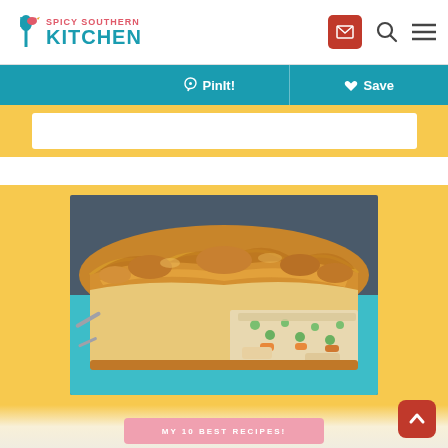Spicy Southern Kitchen - website header with logo, email, search, and menu icons
[Figure (screenshot): Website navigation bar with PinIt! and Save buttons on teal background]
[Figure (photo): Close-up photo of a slice of chicken pot pie with golden flaky crust on a teal plate, showing filling with peas, carrots, and chicken]
MY 10 BEST RECIPES!